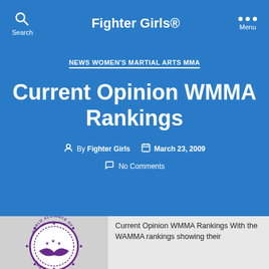Fighter Girls®
NEWS WOMEN'S MARTIAL ARTS MMA
Current Opinion WMMA Rankings
By Fighter Girls   March 23, 2009
No Comments
[Figure (logo): World Alliance of MMA (WAMMA) circular logo with eagle and stars]
Current Opinion WMMA Rankings With the WAMMA rankings showing their